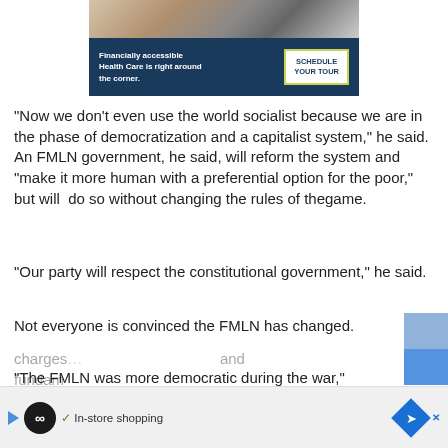[Figure (screenshot): Advertisement banner: dark blue background with white bold text 'Financially accessible Health Care is right around the corner.' and a white button with green border reading 'SCHEDULE YOUR TOUR'. Above is a photo strip showing medical/healthcare scene.]
“Now we don’t even use the world socialist because we are in the phase of democratization and a capitalist system,” he said. An FMLN government, he said, will reform the system and “make it more human with a preferential option for the poor,” but will  do so without changing the rules of thegame.
“Our party will respect the constitutional government,” he said.
Not everyone is convinced the FMLN has changed.
“The FMLN was more democratic during the war,” Guardado
charges… and fundame…
[Figure (screenshot): Bottom advertisement bar with infinity loop icon, play button, checkmark 'In-store shopping' text, navigation diamond icon, and X close button.]